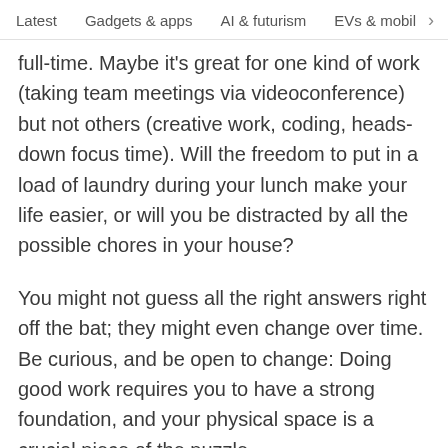Latest   Gadgets & apps   AI & futurism   EVs & mobil >
full-time. Maybe it's great for one kind of work (taking team meetings via videoconference) but not others (creative work, coding, heads-down focus time). Will the freedom to put in a load of laundry during your lunch make your life easier, or will you be distracted by all the possible chores in your house?

You might not guess all the right answers right off the bat; they might even change over time. Be curious, and be open to change: Doing good work requires you to have a strong foundation, and your physical space is a crucial piece of the puzzle.

I worked from a basement for my first year working